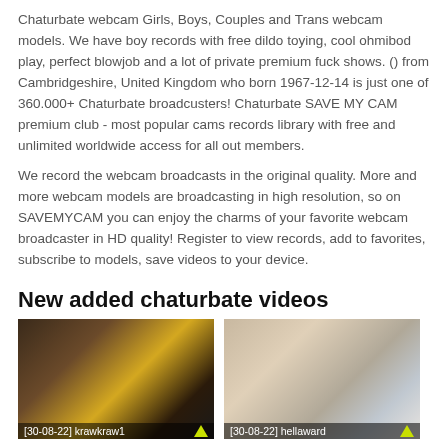Chaturbate webcam Girls, Boys, Couples and Trans webcam models. We have boy records with free dildo toying, cool ohmibod play, perfect blowjob and a lot of private premium fuck shows. () from Cambridgeshire, United Kingdom who born 1967-12-14 is just one of 360.000+ Chaturbate broadcusters! Chaturbate SAVE MY CAM premium club - most popular cams records library with free and unlimited worldwide access for all out members.
We record the webcam broadcasts in the original quality. More and more webcam models are broadcasting in high resolution, so on SAVEMYCAM you can enjoy the charms of your favorite webcam broadcaster in HD quality! Register to view records, add to favorites, subscribe to models, save videos to your device.
New added chaturbate videos
[Figure (photo): Thumbnail of webcam recording labeled [30-08-22] krawkraw1 with upward green arrow]
[Figure (photo): Thumbnail of webcam recording labeled [30-08-22] hellaward with upward green arrow]